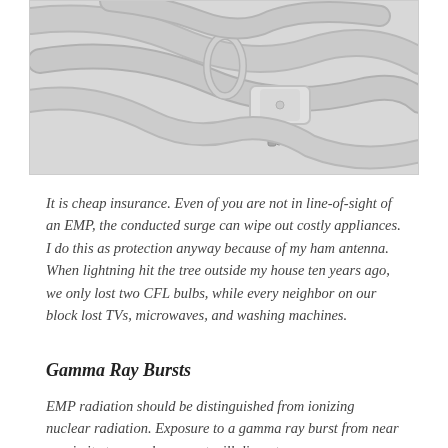[Figure (photo): Close-up photo of a gray electrical power cord/extension cord coiled and showing a standard 3-prong plug, on a white background with a light gray border.]
It is cheap insurance. Even of you are not in line-of-sight of an EMP, the conducted surge can wipe out costly appliances. I do this as protection anyway because of my ham antenna. When lightning hit the tree outside my house ten years ago, we only lost two CFL bulbs, while every neighbor on our block lost TVs, microwaves, and washing machines.
Gamma Ray Bursts
EMP radiation should be distinguished from ionizing nuclear radiation. Exposure to a gamma ray burst from near proximity to a nuclear event will disrupt